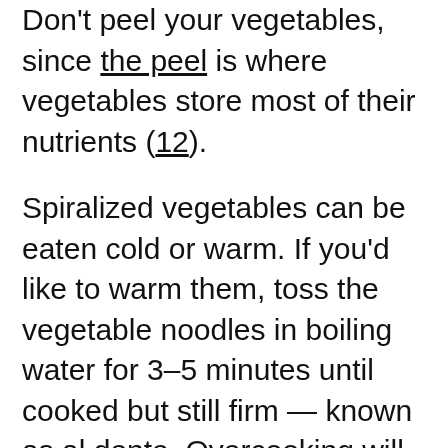Don't peel your vegetables, since the peel is where vegetables store most of their nutrients (12).
Spiralized vegetables can be eaten cold or warm. If you'd like to warm them, toss the vegetable noodles in boiling water for 3–5 minutes until cooked but still firm — known as al dente. Overcooking will make them lose their crunch.
Spiralized vegetables provide a nutrient-rich alternative to